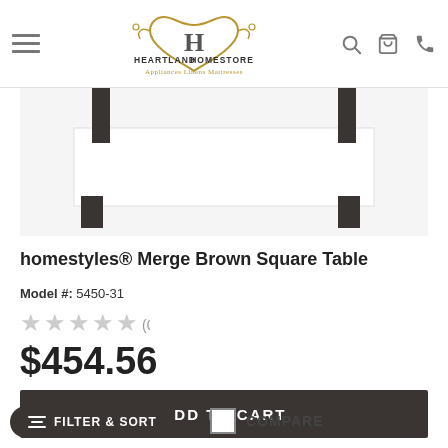[Figure (logo): Heartland Homestore logo with ornate heart and H emblem, text: Appliances Linens Mattresses]
[Figure (photo): Product photo of homestyles Merge Brown Square Table - dark metal legs with white tabletop, photographed from above angle]
homestyles® Merge Brown Square Table
Model #: 5450-31
★★★★★ (0)
$454.56
ADD TO CART
FILTER & SORT
COMPARE